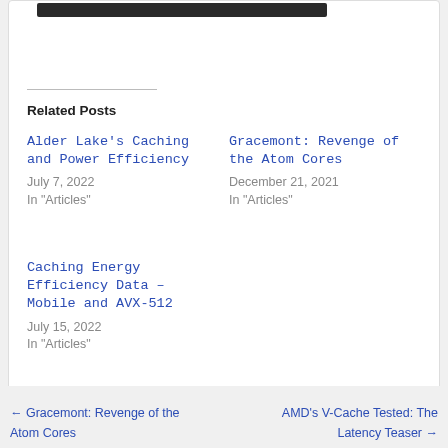[Figure (screenshot): Top portion of a web page card with a dark button/bar element visible at the top]
Related Posts
Alder Lake's Caching and Power Efficiency
July 7, 2022
In "Articles"
Gracemont: Revenge of the Atom Cores
December 21, 2021
In "Articles"
Caching Energy Efficiency Data – Mobile and AVX-512
July 15, 2022
In "Articles"
← Gracemont: Revenge of the Atom Cores          AMD's V-Cache Tested: The Latency Teaser →